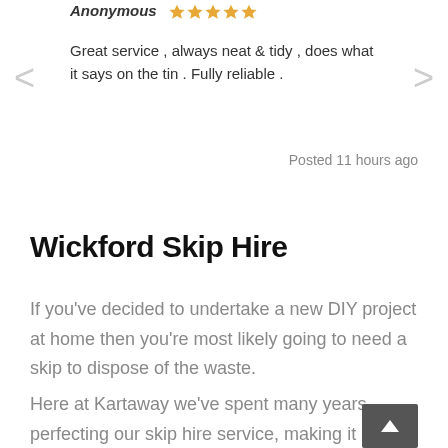Anonymous ★★★★★
Great service , always neat & tidy , does what it says on the tin . Fully reliable .
Posted 11 hours ago
Wickford Skip Hire
If you've decided to undertake a new DIY project at home then you're most likely going to need a skip to dispose of the waste.
Here at Kartaway we've spent many years perfecting our skip hire service, making it as simple and stress-free as possible for our customers. We've even added